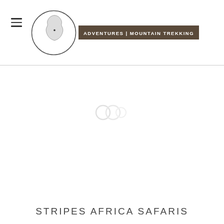[Figure (logo): Stripes Africa Safaris logo — circular emblem with Africa continent illustration and a rectangular dark brown badge reading 'ADVENTURES | MOUNTAIN TREKKING']
[Figure (other): Loading spinner graphic — faint grey circular loading indicator in the center of the page]
STRIPES AFRICA SAFARIS